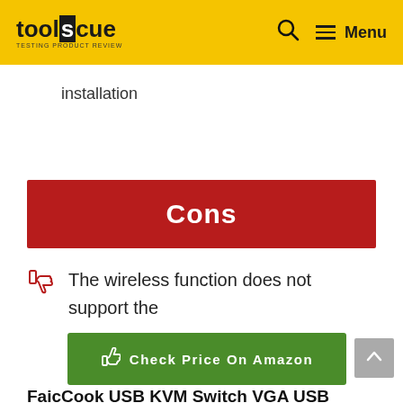toolscue | Menu
installation
Cons
The wireless function does not support the keyboard and mouse
Check Price On Amazon
FaicCook USB KVM Switch VGA USB